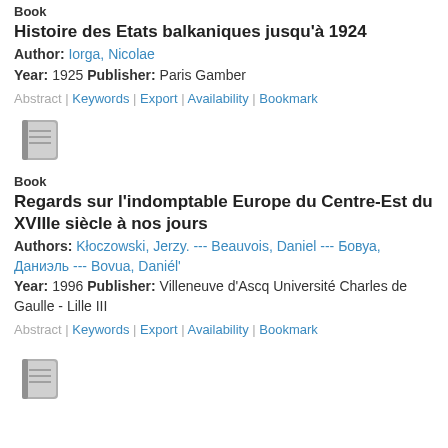[Figure (illustration): Book icon (grey notebook/book graphic) — partially visible at very top]
Book
Histoire des Etats balkaniques jusqu'à 1924
Author: Iorga, Nicolae
Year: 1925 Publisher: Paris Gamber
Abstract | Keywords | Export | Availability | Bookmark
[Figure (illustration): Book icon (grey notebook/book graphic)]
Book
Regards sur l'indomptable Europe du Centre-Est du XVIIIe siècle à nos jours
Authors: Kłoczowski, Jerzy. --- Beauvois, Daniel --- Бовуа, Даниэль --- Bovua, Daniél'
Year: 1996 Publisher: Villeneuve d'Ascq Université Charles de Gaulle - Lille III
Abstract | Keywords | Export | Availability | Bookmark
[Figure (illustration): Book icon (grey notebook/book graphic) — partially visible at bottom]